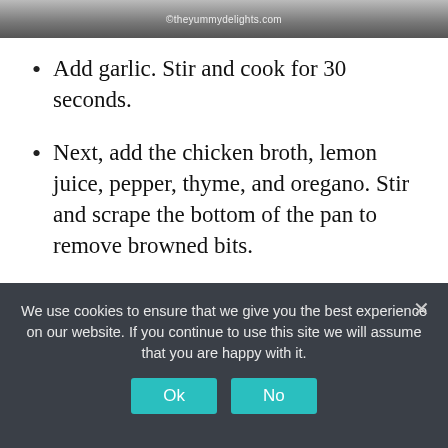[Figure (photo): Partial food photo at top with watermark ©theyummydelights.com]
Add garlic. Stir and cook for 30 seconds.
Next, add the chicken broth, lemon juice, pepper, thyme, and oregano. Stir and scrape the bottom of the pan to remove browned bits.
Taste it and add salt as per taste.
Add rice and green peas. Gently stir to
We use cookies to ensure that we give you the best experience on our website. If you continue to use this site we will assume that you are happy with it.